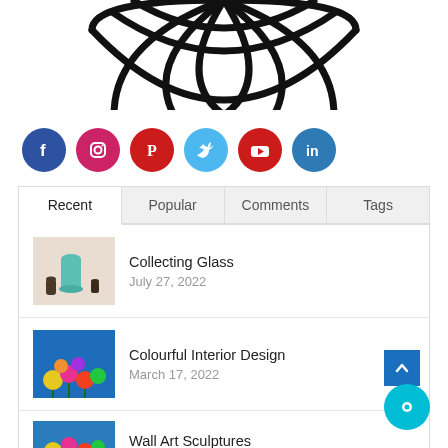[Figure (illustration): Bottom portion of a globe/wireframe sphere illustration in black on white background]
[Figure (infographic): Row of social media icon circles: Facebook (dark blue), Instagram (pink/red gradient), Pinterest (red), Twitter (light blue), YouTube (red), LinkedIn (teal/blue)]
[Figure (other): Tab bar with four tabs: Recent (active/white), Popular, Comments, Tags (all on gray background)]
Collecting Glass
July 27, 2022
Colourful Interior Design
March 17, 2022
Wall Art Sculptures